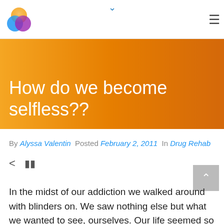[Figure (logo): Colorful overlapping circles logo (rainbow colored: red, orange, yellow, green, blue, purple) in top left corner]
Navigation header with logo and hamburger menu icon
How do we become selfless??
By Alyssa Valentin  Posted February 2, 2011  In Drug Rehab
In the midst of our addiction we walked around with blinders on. We saw nothing else but what we wanted to see, ourselves. Our life seemed so much more important